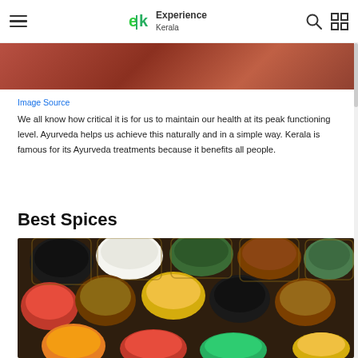Experience Kerala — navigation bar
[Figure (photo): Partially visible photo of Ayurveda-related imagery, warm reddish-brown tones, cropped at top]
Image Source
We all know how critical it is for us to maintain our health at its peak functioning level. Ayurveda helps us achieve this naturally and in a simple way. Kerala is famous for its Ayurveda treatments because it benefits all people.
Best Spices
[Figure (photo): Overhead photo of various Indian spices and herbs displayed in small paper bags/bowls arranged decoratively on a dark surface]